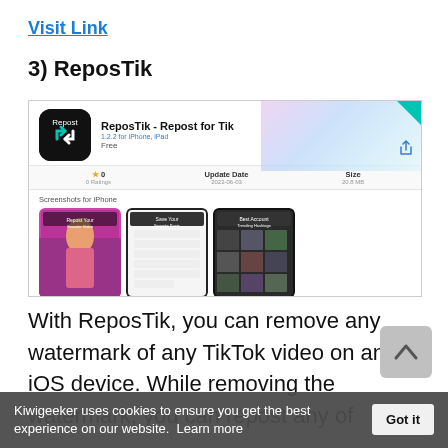Visit Link
3) ReposTik
[Figure (screenshot): App Store page screenshot for ReposTik - Repost for Tik app, showing app icon, title, version, free label, stats (0 ratings, Update Date 2022-06-03, Size 20.8 MB), and three iPhone screenshots labeled Repost Your Favorite Video, Save Your Favorite Posts, Best Account Trending Hashtags.]
With ReposTik, you can remove any watermark of any TikTok video on an iOS device. While removing the watermark, you can repost any of your videos. Even this is free...attention and shares. Even this is free
Kiwigeeker uses cookies to ensure you get the best experience on our website.  Learn more